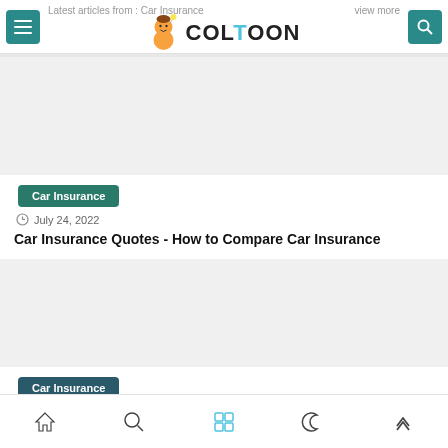Latest articles from : Car Insurance | COLTOON | view more
[Figure (illustration): Placeholder image area for article 1 (light gray background)]
Car Insurance
July 24, 2022
Car Insurance Quotes - How to Compare Car Insurance
[Figure (illustration): Placeholder image area for article 2 (light gray background)]
Car Insurance
Home | Search | Grid | Night mode | Up